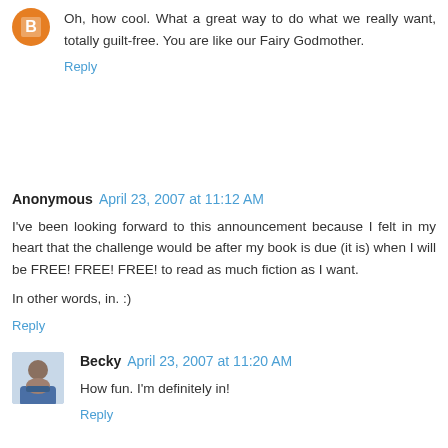Oh, how cool. What a great way to do what we really want, totally guilt-free. You are like our Fairy Godmother.
Reply
Anonymous April 23, 2007 at 11:12 AM
I've been looking forward to this announcement because I felt in my heart that the challenge would be after my book is due (it is) when I will be FREE! FREE! FREE! to read as much fiction as I want.

In other words, in. :)
Reply
Becky April 23, 2007 at 11:20 AM
How fun. I'm definitely in!
Reply